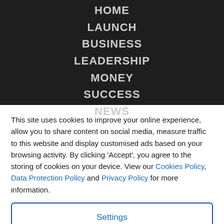HOME
LAUNCH
BUSINESS
LEADERSHIP
MONEY
SUCCESS
NEWS
This site uses cookies to improve your online experience, allow you to share content on social media, measure traffic to this website and display customised ads based on your browsing activity. By clicking 'Accept', you agree to the storing of cookies on your device. View our Cookies Policy, Data Protection Policy and Privacy Policy for more information.
Settings
Accept